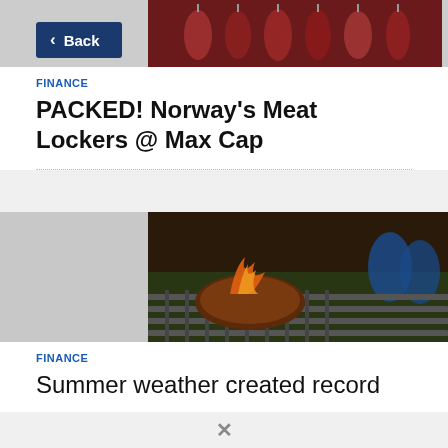[Figure (photo): Photo of hanging raw meat in a meat locker/butcher display, partially obscured by a dark blue back button overlay]
< Back
FINANCE
PACKED! Norway's Meat Lockers @ Max Cap
[Figure (photo): Photo of a meat steak on a grill with flames, beer cans in background]
FINANCE
Summer weather created record